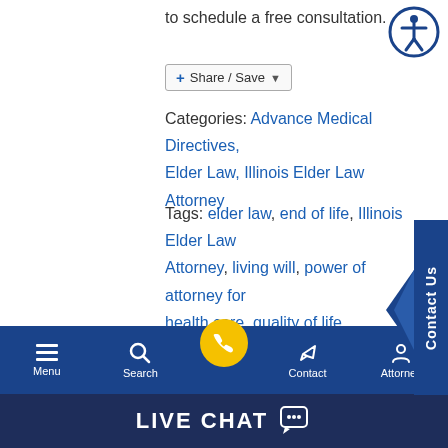to schedule a free consultation.
Share / Save
Categories: Advance Medical Directives, Elder Law, Illinois Elder Law Attorney
Tags: elder law, end of life, Illinois Elder Law Attorney, living will, power of attorney for health care, quality of life
Menu | Search | Contact | Attorney | LIVE CHAT